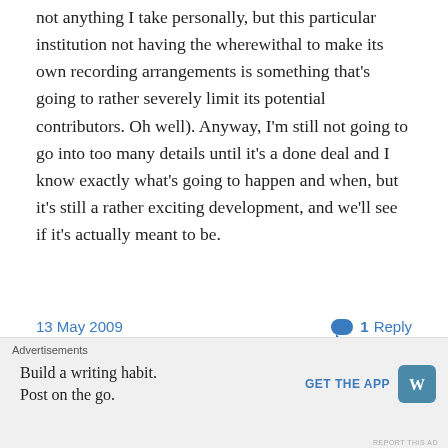not anything I take personally, but this particular institution not having the wherewithal to make its own recording arrangements is something that's going to rather severely limit its potential contributors. Oh well). Anyway, I'm still not going to go into too many details until it's a done deal and I know exactly what's going to happen and when, but it's still a rather exciting development, and we'll see if it's actually meant to be.
13 May 2009
1 Reply
[Figure (other): Featured On banner with blue background and circular logo icon]
Advertisements
Build a writing habit. Post on the go.
GET THE APP